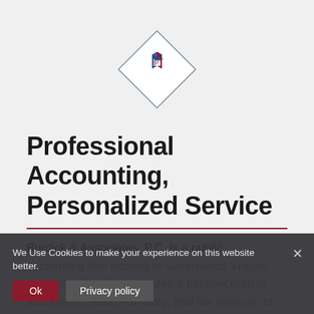[Figure (logo): Burdick & Associates logo — a stylized cube/diamond icon in red, white, and blue, inside a diamond-shaped outline border]
Professional Accounting, Personalized Service
Burdick & Associates, P.C. is a public accounting firm located in Greenwood Village, Colorado. Our firm provides a full spectrum of accounting, audit, advisory, and tax services to
We Use Cookies to make your experience on this website better. Ok | Privacy policy